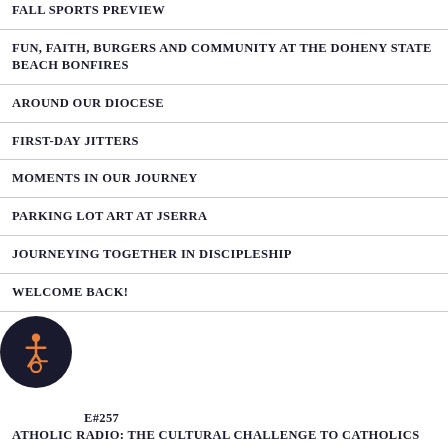FALL SPORTS PREVIEW
FUN, FAITH, BURGERS AND COMMUNITY AT THE DOHENY STATE BEACH BONFIRES
AROUND OUR DIOCESE
FIRST-DAY JITTERS
MOMENTS IN OUR JOURNEY
PARKING LOT ART AT JSERRA
JOURNEYING TOGETHER IN DISCIPLESHIP
WELCOME BACK!
ISSUE#257
CATHOLIC RADIO: THE CULTURAL CHALLENGE TO CATHOLICS